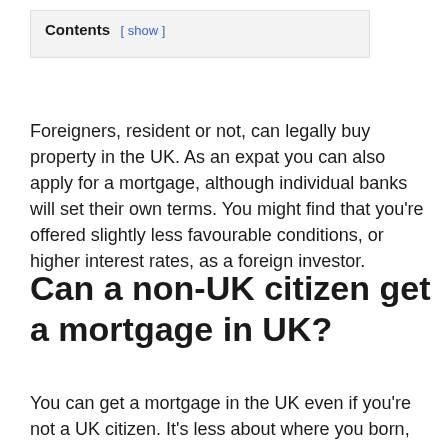Contents [ show ]
Foreigners, resident or not, can legally buy property in the UK. As an expat you can also apply for a mortgage, although individual banks will set their own terms. You might find that you're offered slightly less favourable conditions, or higher interest rates, as a foreign investor.
Can a non-UK citizen get a mortgage in UK?
You can get a mortgage in the UK even if you're not a UK citizen. It's less about where you born, and more about your credit history